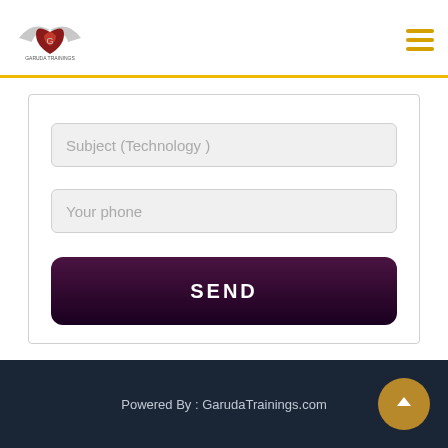Garuda Trainings logo and navigation menu
Subject (Technology )
Your phone
SEND
Powered By : GarudaTrainings.com